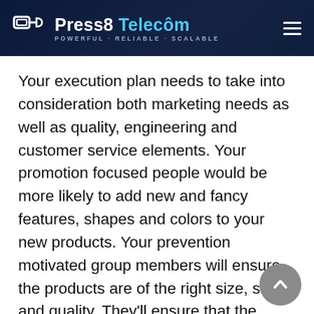Press8 Telecom — POWERFUL · RELIABLE · SCALABLE
Your execution plan needs to take into consideration both marketing needs as well as quality, engineering and customer service elements. Your promotion focused people would be more likely to add new and fancy features, shapes and colors to your new products. Your prevention motivated group members will ensure the products are of the right size, shape and quality. They'll ensure that the products will actually work and take great pains to make them perfect.
But expect them to take their time over it, checking and rechecking just one more time. This